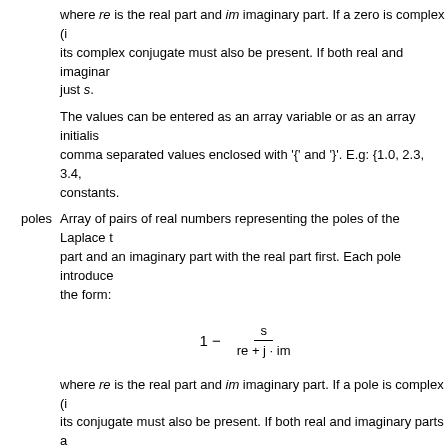where re is the real part and im imaginary part. If a zero is complex (i its complex conjugate must also be present. If both real and imaginary parts a just s.
The values can be entered as an array variable or as an array initialis comma separated values enclosed with '{' and '}'. E.g: {1.0, 2.3, 3.4, constants.
poles  Array of pairs of real numbers representing the poles of the Laplace t part and an imaginary part with the real part first. Each pole introduce the form:
where re is the real part and im imaginary part. If a pole is complex (i its conjugate must also be present. If both real and imaginary parts a
The values can be entered as an array variable or as an array initialis comma separated values enclosed with '{' and '}'. E.g: {1.0, 2.3, 3.4, constants.
ε  Tolerance parameter currently unused.